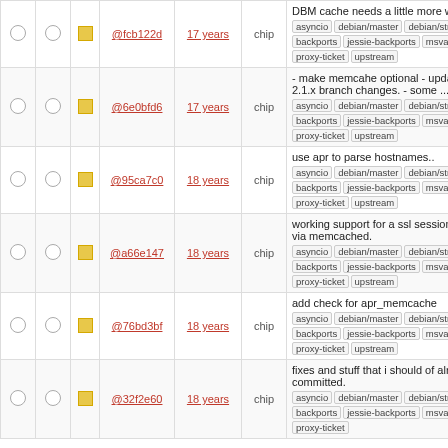|  |  |  | Hash | Age | Author | Description |
| --- | --- | --- | --- | --- | --- | --- |
|  |  |  | @fcb122d | 17 years | chip | DBM cache needs a little more work.
asyncio debian/master debian/stretch-backports jessie-backports msva proxy-ticket upstream |
|  |  |  | @6e0bfd6 | 17 years | chip | - make memcahe optional - update for 2.1.x branch changes. - some ...
asyncio debian/master debian/stretch-backports jessie-backports msva proxy-ticket upstream |
|  |  |  | @95ca7c0 | 18 years | chip | use apr to parse hostnames..
asyncio debian/master debian/stretch-backports jessie-backports msva proxy-ticket upstream |
|  |  |  | @a66e147 | 18 years | chip | working support for a ssl session cache via memcached.
asyncio debian/master debian/stretch-backports jessie-backports msva proxy-ticket upstream |
|  |  |  | @76bd3bf | 18 years | chip | add check for apr_memcache
asyncio debian/master debian/stretch-backports jessie-backports msva proxy-ticket upstream |
|  |  |  | @32f2e60 | 18 years | chip | fixes and stuff that i should of already committed.
asyncio debian/master debian/stretch-backports jessie-backports msva proxy-ticket |